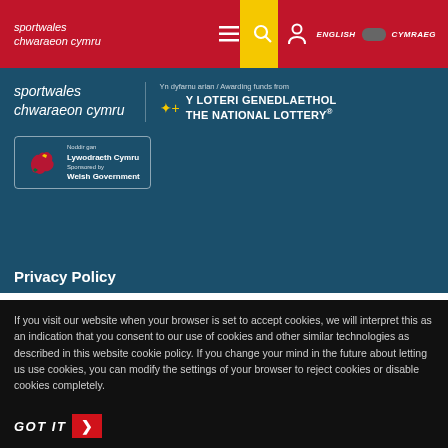[Figure (logo): Sport Wales / Chwaraeon Cymru navigation bar logo in white italic text on red background]
[Figure (logo): Sport Wales / Chwaraeon Cymru header logo with National Lottery awarding funds logo and Welsh Government sponsored badge on dark teal background]
Privacy Policy
If you visit our website when your browser is set to accept cookies, we will interpret this as an indication that you consent to our use of cookies and other similar technologies as described in this website cookie policy. If you change your mind in the future about letting us use cookies, you can modify the settings of your browser to reject cookies or disable cookies completely.
GOT IT